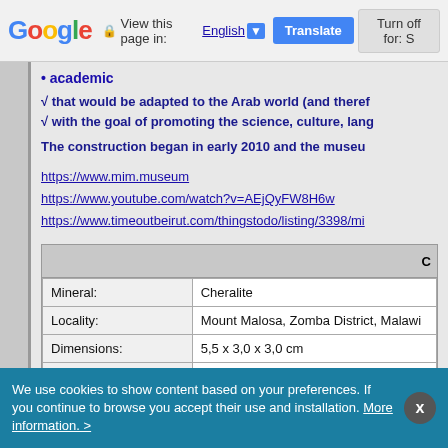Google | View this page in: English ▼ | Translate | Turn off for: S
• academic
√ that would be adapted to the Arab world (and theref
√ with the goal of promoting the science, culture, lang
The construction began in early 2010 and the museu
https://www.mim.museum
https://www.youtube.com/watch?v=AEjQyFW8H6w
https://www.timeoutbeirut.com/thingstodo/listing/3398/mi
|  | C |
| --- | --- |
| Mineral: | Cheralite |
| Locality: | Mount Malosa, Zomba District, Malawi |
| Dimensions: | 5,5 x 3,0 x 3,0 cm |
| Description: | Main crystal size : 5,2 cm
Double terminated composite crystal (
MIM number 828
Photographer : AINU / Augustin de Val |
We use cookies to show content based on your preferences. If you continue to browse you accept their use and installation. More information. >